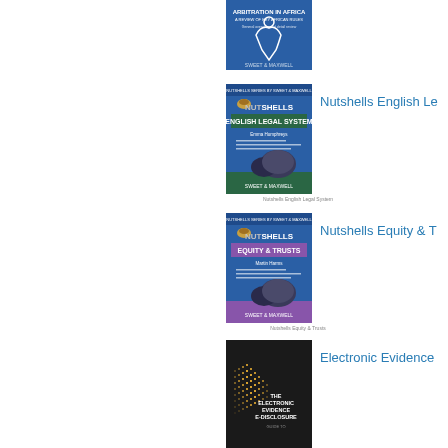[Figure (illustration): Partial book cover at top of page, blue background, appears to be a legal/arbitration title, cut off]
[Figure (illustration): Nutshells English Legal System book cover - blue background with walnut shells image, NUTSHELLS branding with ENGLISH LEGAL SYSTEM subtitle]
Nutshells English Legal System
[Figure (illustration): Nutshells Equity & Trusts book cover - blue and purple background with walnut shells image, NUTSHELLS branding with EQUITY & TRUSTS subtitle]
Nutshells Equity & Trusts
[Figure (illustration): Electronic Evidence e-Disclosure book cover - dark/black background with golden dot-matrix pattern forming a figure]
Nutshells English Le
Nutshells Equity & T
Electronic Evidence